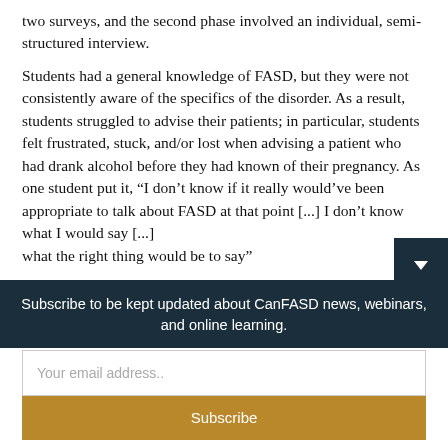two surveys, and the second phase involved an individual, semi-structured interview.
Students had a general knowledge of FASD, but they were not consistently aware of the specifics of the disorder. As a result, students struggled to advise their patients; in particular, students felt frustrated, stuck, and/or lost when advising a patient who had drank alcohol before they had known of their pregnancy. As one student put it, “I don’t know if it really would’ve been appropriate to talk about FASD at that point [...] I don’t know what I would say [... what the right thing would be to say”
Subscribe to be kept updated about CanFASD news, webinars, and online learning.